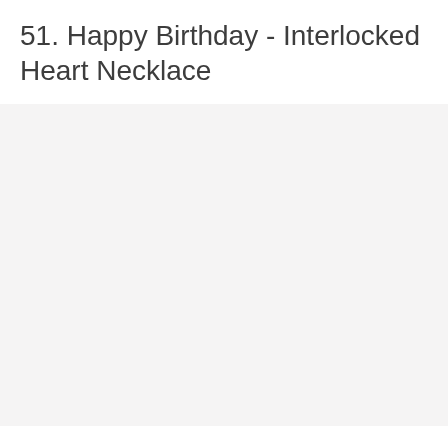51. Happy Birthday - Interlocked Heart Necklace
[Figure (photo): Large light grey/off-white blank image area, appears to be a placeholder for a product photo of an interlocked heart necklace.]